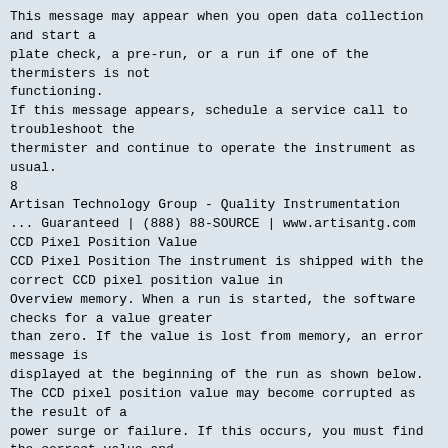This message may appear when you open data collection and start a plate check, a pre-run, or a run if one of the thermisters is not functioning. If this message appears, schedule a service call to troubleshoot the thermister and continue to operate the instrument as usual.
8
Artisan Technology Group - Quality Instrumentation ... Guaranteed | (888) 88-SOURCE | www.artisantg.com
CCD Pixel Position Value
CCD Pixel Position The instrument is shipped with the correct CCD pixel position value in Overview memory. When a run is started, the software checks for a value greater than zero. If the value is lost from memory, an error message is displayed at the beginning of the run as shown below. The CCD pixel position value may become corrupted as the result of a power surge or failure. If this occurs, you must find the correct value and enter it as described in the following procedures before starting a run.
Locating the CCD The correct CCD pixel position value is written on a white label on the Pixel Position CCD camera. It is visible from the front through the opening below the Label rear heat-transfer plate, as shown below.
Rear heat-transfer plate